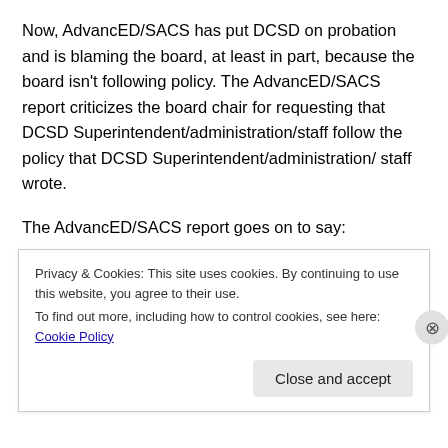Now, AdvancED/SACS has put DCSD on probation and is blaming the board, at least in part, because the board isn't following policy.  The AdvancED/SACS report criticizes the board chair for requesting that DCSD Superintendent/administration/staff follow the policy that DCSD Superintendent/administration/ staff wrote.
The AdvancED/SACS report goes on to say:
“Meanwhile, the board chair unilaterally made an arbitrary decision, without further discussion and direction by the full Board, to set a new, lower floor for purchases for which
Privacy & Cookies: This site uses cookies. By continuing to use this website, you agree to their use.
To find out more, including how to control cookies, see here: Cookie Policy